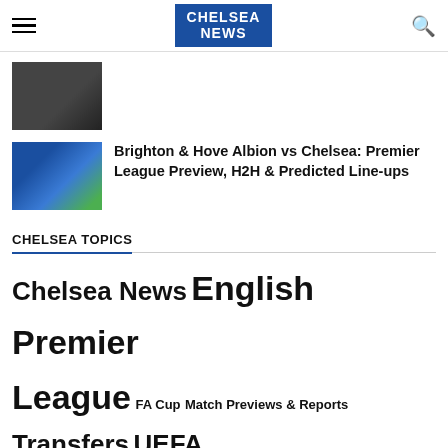CHELSEA NEWS
[Figure (photo): Thumbnail image of Chelsea-related scene, partially cropped at top]
Brighton & Hove Albion vs Chelsea: Premier League Preview, H2H & Predicted Line-ups
CHELSEA TOPICS
Chelsea News English Premier League FA Cup Match Previews & Reports Transfers UEFA Champions League
MORE IN UEFA CHAMPIONS LEAGUE
Chelsea Week Recap: From Pyrrhic Champions League win to FA Cup semi-